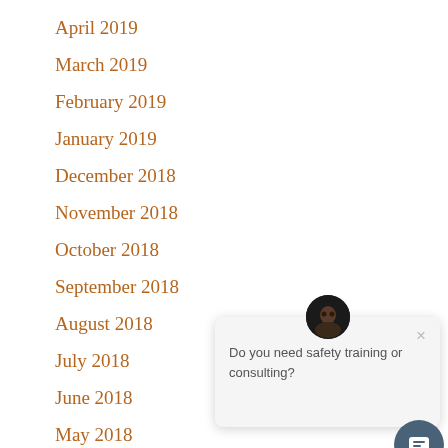April 2019
March 2019
February 2019
January 2019
December 2018
November 2018
October 2018
September 2018
August 2018
July 2018
June 2018
May 2018
[Figure (screenshot): Chat popup widget with avatar icon, close button (x), and text 'Do you need safety training or consulting?' along with a circular chat button in the bottom right corner.]